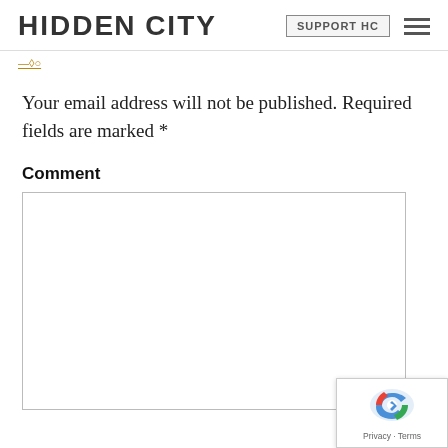HIDDEN CITY | SUPPORT HC
Your email address will not be published. Required fields are marked *
Comment
[Figure (screenshot): Empty comment text area input box with light border]
[Figure (screenshot): reCAPTCHA badge with Privacy and Terms links]